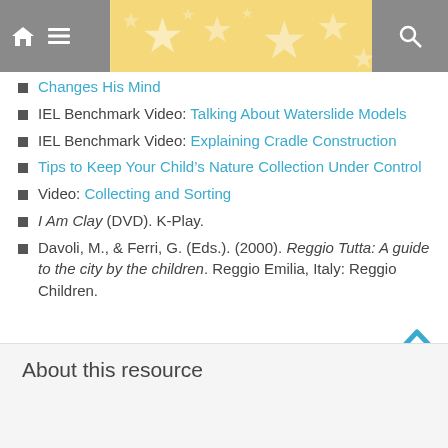Navigation bar with home, menu, star background, and search icons
Changes His Mind (link, truncated from previous page)
IEL Benchmark Video: Talking About Waterslide Models
IEL Benchmark Video: Explaining Cradle Construction
Tips to Keep Your Child’s Nature Collection Under Control
Video: Collecting and Sorting
I Am Clay (DVD). K-Play.
Davoli, M., & Ferri, G. (Eds.). (2000). Reggio Tutta: A guide to the city by the children. Reggio Emilia, Italy: Reggio Children.
About this resource